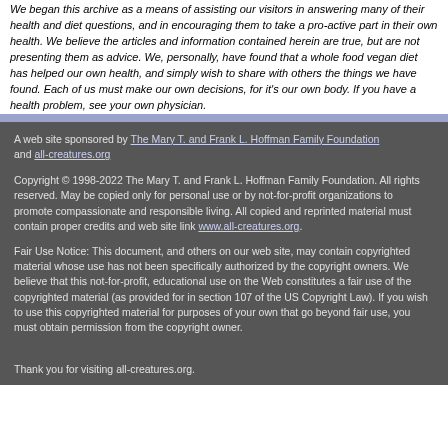We began this archive as a means of assisting our visitors in answering many of their health and diet questions, and in encouraging them to take a pro-active part in their own health. We believe the articles and information contained herein are true, but are not presenting them as advice. We, personally, have found that a whole food vegan diet has helped our own health, and simply wish to share with others the things we have found. Each of us must make our own decisions, for it's our own body. If you have a health problem, see your own physician.
A web site sponsored by The Mary T. and Frank L. Hoffman Family Foundation and all-creatures.org
Copyright © 1998-2022 The Mary T. and Frank L. Hoffman Family Foundation. All rights reserved. May be copied only for personal use or by not-for-profit organizations to promote compassionate and responsible living. All copied and reprinted material must contain proper credits and web site link www.all-creatures.org.
Fair Use Notice: This document, and others on our web site, may contain copyrighted material whose use has not been specifically authorized by the copyright owners. We believe that this not-for-profit, educational use on the Web constitutes a fair use of the copyrighted material (as provided for in section 107 of the US Copyright Law). If you wish to use this copyrighted material for purposes of your own that go beyond fair use, you must obtain permission from the copyright owner.
Thank you for visiting all-creatures.org.